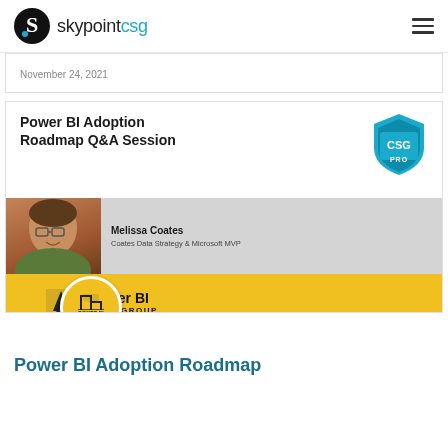skypointcsg
November 24, 2021
[Figure (screenshot): Screenshot of a webinar thumbnail showing 'Power BI Adoption Roadmap Q&A Session' with a CSG PRO logo badge, a photo of Melissa Coates (Coates Data Strategy & Microsoft MVP), and a Power BI User Group banner in yellow with Oregon state shape and trees icon. A yellow circular Power BI User Group badge is overlaid at bottom left.]
Power BI Adoption Roadmap